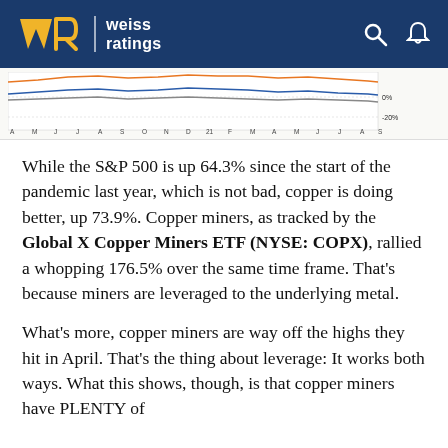Weiss Ratings
[Figure (continuous-plot): Partial line chart showing performance comparison of S&P 500, copper, and copper miners ETF (COPX), with x-axis showing months from A (April) through S (September) spanning 2020-2021. Y-axis shows percentage with labels at 0% and -20% visible.]
While the S&P 500 is up 64.3% since the start of the pandemic last year, which is not bad, copper is doing better, up 73.9%. Copper miners, as tracked by the Global X Copper Miners ETF (NYSE: COPX), rallied a whopping 176.5% over the same time frame. That's because miners are leveraged to the underlying metal.
What's more, copper miners are way off the highs they hit in April. That's the thing about leverage: It works both ways. What this shows, though, is that copper miners have PLENTY of